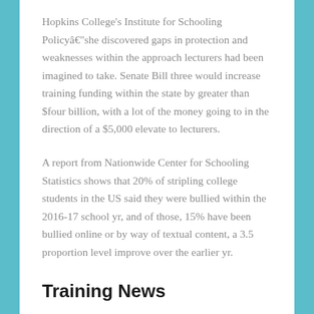Hopkins College's Institute for Schooling Policyâ€”she discovered gaps in protection and weaknesses within the approach lecturers had been imagined to take. Senate Bill three would increase training funding within the state by greater than $four billion, with a lot of the money going to in the direction of a $5,000 elevate to lecturers.
A report from Nationwide Center for Schooling Statistics shows that 20% of stripling college students in the US said they were bullied within the 2016-17 school yr, and of those, 15% have been bullied online or by way of textual content, a 3.5 proportion level improve over the earlier yr.
Training News